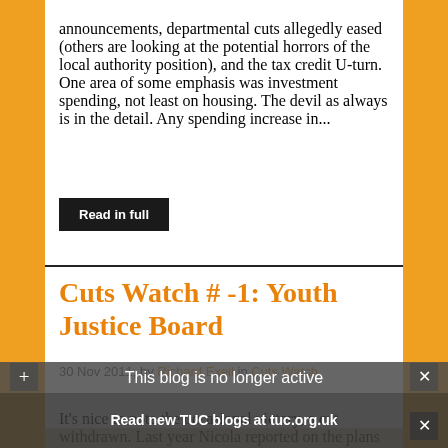announcements, departmental cuts allegedly eased (others are looking at the potential horrors of the local authority position), and the tax credit U-turn. One area of some emphasis was investment spending, not least on housing. The devil as always is in the detail. Any spending increase in...
Read in full
Cuts Watch # -1: Youth Justice Board
30 Nov 2011, by Richard Exell in Cuts Watch
It's nice to note the occasional victory, a cut withdrawn. Last year Nicola reported on the plans to abolish the Youth Justice Board and to hive off its job of overseeing the youth justice system in England and Wales to a division of the Ministry of Justice. The s...
This blog is no longer active
Read new TUC blogs at tuc.org.uk